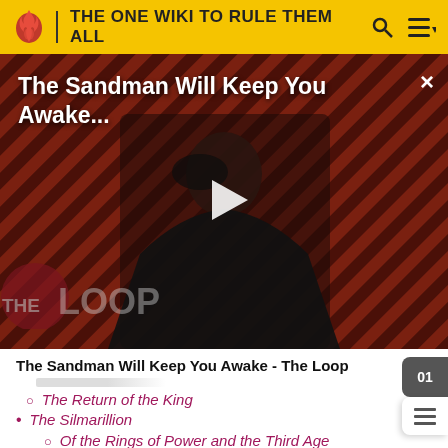THE ONE WIKI TO RULE THEM ALL
[Figure (screenshot): Video thumbnail for 'The Sandman Will Keep You Awake...' showing a dark-cloaked figure against a striped reddish background, with a play button overlay and 'THE LOOP' watermark. A close button (×) is in the top right.]
The Sandman Will Keep You Awake - The Loop
The Return of the King
The Silmarillion
Of the Rings of Power and the Third Age